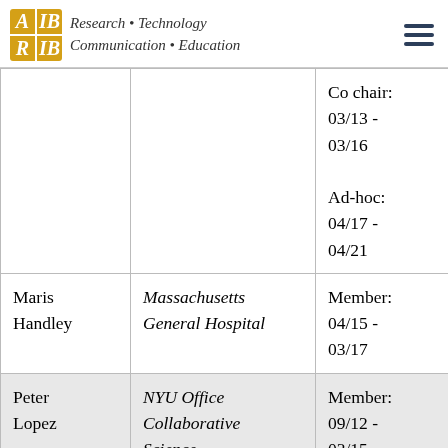AIB Research · Technology Communication · Education
| Name | Institution | Role / Dates |
| --- | --- | --- |
|  |  | Co chair:
03/13 - 03/16
Ad-hoc:
04/17 - 04/21 |
| Maris Handley | Massachusetts General Hospital | Member:
04/15 - 03/17 |
| Peter Lopez | NYU Office Collaborative Science | Member:
09/12 - 03/15 |